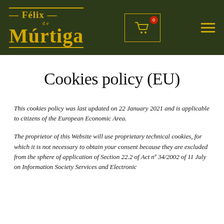[Figure (logo): Félix de Múrtiga logo in yellow/gold on dark green background, with cart icon and hamburger menu]
Cookies policy (EU)
This cookies policy was last updated on 22 January 2021 and is applicable to citizens of the European Economic Area.
The proprietor of this Website will use proprietary technical cookies, for which it is not necessary to obtain your consent because they are excluded from the sphere of application of Section 22.2 of Act nº 34/2002 of 11 July on Information Society Services and Electronic